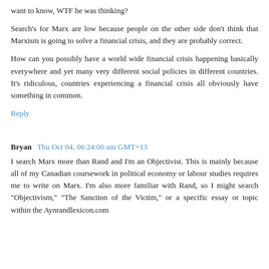want to know, WTF he was thinking?
Search's for Marx are low because people on the other side don't think that Marxism is going to solve a financial crisis, and they are probably correct.
How can you possibly have a world wide financial crisis happening basically everywhere and yet many very different social policies in different countries. It's ridiculous, countries experiencing a financial crisis all obviously have something in common.
Reply
Bryan  Thu Oct 04, 06:24:00 am GMT+13
I search Marx more than Rand and I'm an Objectivist. This is mainly because all of my Canadian coursework in political economy or labour studies requires me to write on Marx. I'm also more familiar with Rand, so I might search "Objectivism," "The Sanction of the Victim," or a specific essay or topic within the Aynrandlexicon.com